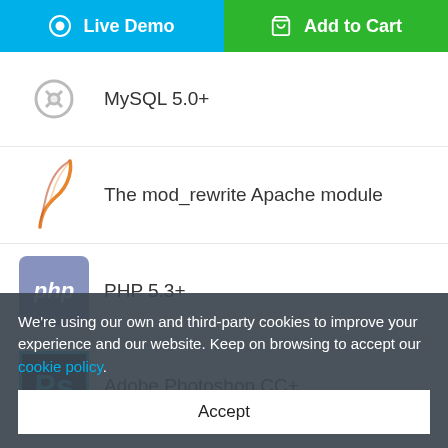[Figure (screenshot): Blue 'Live Demo' button with eye icon on the left]
[Figure (screenshot): Green 'Add to Cart' button with cart icon on the right]
MySQL 5.0+
The mod_rewrite Apache module
PHP 5.3+
Adobe Photoshop CC+
ZIP unarchiver
Apache player
WordPress 4.1.x
We're using our own and third-party cookies to improve your experience and our website. Keep on browsing to accept our cookie policy.
Accept